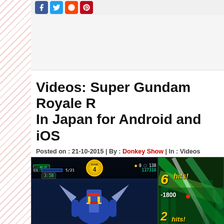[Figure (screenshot): Social media share icons: Facebook, Twitter, Reddit, Pinterest]
Videos: Super Gundam Royale Released In Japan for Android and iOS
Posted on : 21-10-2015 | By : Donkey Show | In : Videos
Hardware: Android, IOS
[Figure (screenshot): Screenshots from Super Gundam Royale mobile game showing gameplay with a Gundam robot, HUD elements including RANK 4, 一般兵, EN bar 5/21, 3:58 timer, score 0/138, 137310 points on left screen; WAVE 1/2, 6 hits, -1800 damage, 2 hits on right screen with green battle effects]